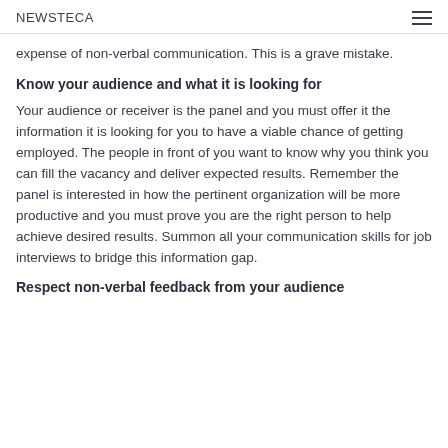NEWSTECA
expense of non-verbal communication. This is a grave mistake.
Know your audience and what it is looking for
Your audience or receiver is the panel and you must offer it the information it is looking for you to have a viable chance of getting employed. The people in front of you want to know why you think you can fill the vacancy and deliver expected results. Remember the panel is interested in how the pertinent organization will be more productive and you must prove you are the right person to help achieve desired results. Summon all your communication skills for job interviews to bridge this information gap.
Respect non-verbal feedback from your audience